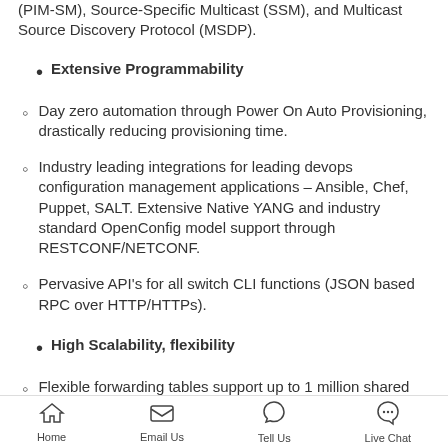(PIM-SM), Source-Specific Multicast (SSM), and Multicast Source Discovery Protocol (MSDP).
Extensive Programmability
Day zero automation through Power On Auto Provisioning, drastically reducing provisioning time.
Industry leading integrations for leading devops configuration management applications – Ansible, Chef, Puppet, SALT. Extensive Native YANG and industry standard OpenConfig model support through RESTCONF/NETCONF.
Pervasive API's for all switch CLI functions (JSON based RPC over HTTP/HTTPs).
High Scalability, flexibility
Flexible forwarding tables support up to 1 million shared entries on EX models. Flexible use of TCAM space allows for custom defin
Home   Email Us   Tell Us   Live Chat